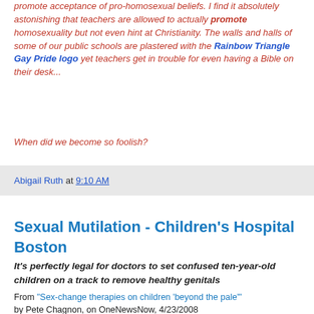promote acceptance of pro-homosexual beliefs. I find it absolutely astonishing that teachers are allowed to actually promote homosexuality but not even hint at Christianity. The walls and halls of some of our public schools are plastered with the Rainbow Triangle Gay Pride logo yet teachers get in trouble for even having a Bible on their desk...
When did we become so foolish?
Abigail Ruth at 9:10 AM
Sexual Mutilation - Children's Hospital Boston
It's perfectly legal for doctors to set confused ten-year-old children on a track to remove healthy genitals
From "Sex-change therapies on children 'beyond the pale'" by Pete Chagnon, on OneNewsNow, 4/23/2008